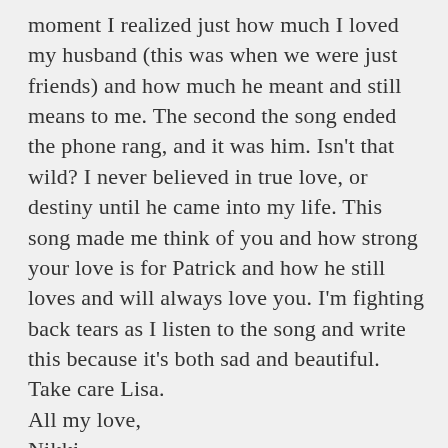moment I realized just how much I loved my husband (this was when we were just friends) and how much he meant and still means to me. The second the song ended the phone rang, and it was him. Isn't that wild? I never believed in true love, or destiny until he came into my life. This song made me think of you and how strong your love is for Patrick and how he still loves and will always love you. I'm fighting back tears as I listen to the song and write this because it's both sad and beautiful. Take care Lisa.
All my love,
Nikki
Reply